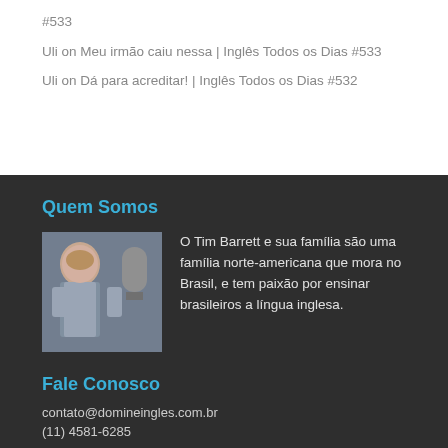#533
Uli on Meu irmão caiu nessa | Inglês Todos os Dias #533
Uli on Dá para acreditar! | Inglês Todos os Dias #532
Quem Somos
[Figure (photo): Photo of Tim Barrett, a man sitting in front of a microphone in what appears to be a recording studio or home office, wearing a plaid shirt.]
O Tim Barrett e sua família são uma família norte-americana que mora no Brasil, e tem paixão por ensinar brasileiros a língua inglesa.
Fale Conosco
contato@domineingles.com.br
(11) 4581-6285